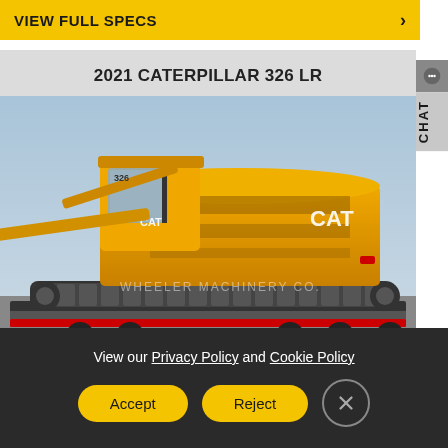VIEW FULL SPECS
[Figure (photo): 2021 Caterpillar 326 LR excavator on a flatbed trailer, yellow/gold colored, with CAT branding, watermarked 'WHEELER MACHINERY CO.']
2021 CATERPILLAR 326 LR
View our Privacy Policy and Cookie Policy
Accept  Reject  [close]